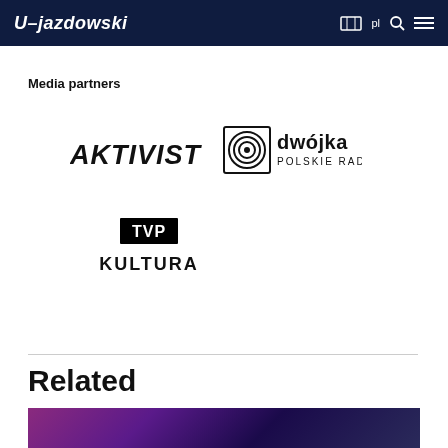U–jazdowski
Media partners
[Figure (logo): AKTIVIST logo in bold black italic text]
[Figure (logo): Dwójka Polskie Radio logo with concentric circles icon]
[Figure (logo): TVP Kultura logo with bordered TVP text above KULTURA]
Related
[Figure (photo): Dark purple and violet interior photo, partially visible at bottom of page]